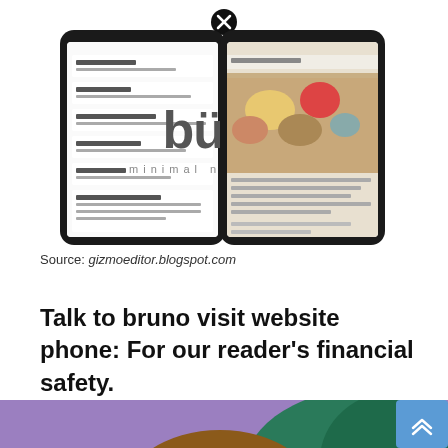[Figure (screenshot): Two smartphone mockups displaying the Buno app interface. Left phone shows a list/notes view. Center shows the Buno logo and tagline 'minimal note taking'. Right phone shows a food photography note. A black X close button appears at top center.]
Source: gizmoeditor.blogspot.com
Talk to bruno visit website phone: For our reader's financial safety.
[Figure (illustration): Cartoon illustration of an owl-like character peeking up from the bottom, with a black X close button on its face. Purple/teal background.]